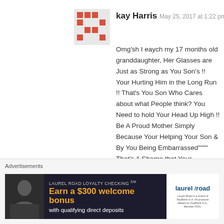[Figure (illustration): Red mosaic/pixel avatar icon for user kay Harris]
kay Harris   May 25, 2017 at 1:22 pm
Omg'sh I eaych my 17 months old granddaughter, Her Glasses are Just as Strong as You Son's !! Your Hurting Him in the Long Run !! That's You Son Who Cares about what People think? You Need to hold Your Head Up High !! Be A Proud Mother Simply Because Your Helping Your Son & By You Being Embarrassed"""" That's A Shame that Your Embarrassed to Take Your Little Boy out in public !!! He make really enjoy being able to see what He's been missing !! He will be board at Home then the Fight will be On !! Sorry to come across harsh , this is
Advertisements
[Figure (infographic): Laurel Road Loyalty Checking advertisement banner: Earn a $300 welcome bonus with qualifying direct deposits]